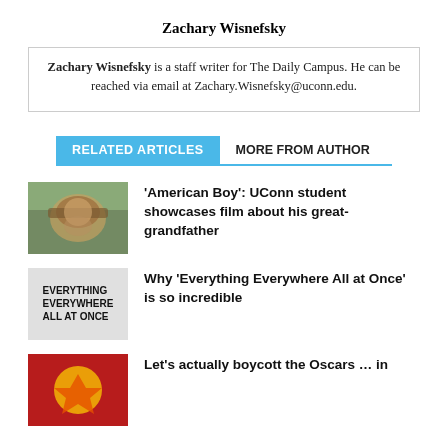Zachary Wisnefsky
Zachary Wisnefsky is a staff writer for The Daily Campus. He can be reached via email at Zachary.Wisnefsky@uconn.edu.
RELATED ARTICLES	MORE FROM AUTHOR
'American Boy': UConn student showcases film about his great-grandfather
Why 'Everything Everywhere All at Once' is so incredible
Let's actually boycott the Oscars … in